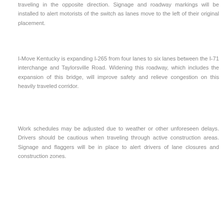traveling in the opposite direction. Signage and roadway markings will be installed to alert motorists of the switch as lanes move to the left of their original placement.
I-Move Kentucky is expanding I-265 from four lanes to six lanes between the I-71 interchange and Taylorsville Road. Widening this roadway, which includes the expansion of this bridge, will improve safety and relieve congestion on this heavily traveled corridor.
Work schedules may be adjusted due to weather or other unforeseen delays. Drivers should be cautious when traveling through active construction areas. Signage and flaggers will be in place to alert drivers of lane closures and construction zones.